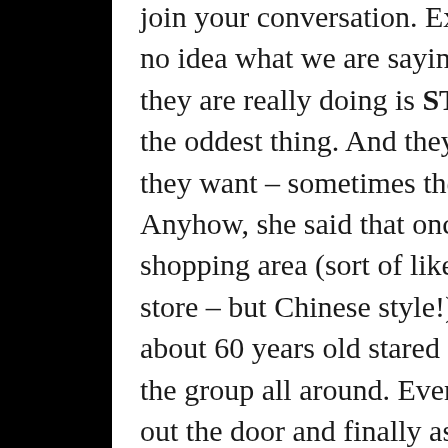join your conversation. Except they have no idea what we are saying…so what they are really doing is STARING! It is the oddest thing. And they stay as long as they want – sometimes the whole time! Anyhow, she said that once at the shopping area (sort of like a department store – but Chinese style!) a woman about 60 years old stared and followed the group all around. Even followed them out the door and finally asked Joanna about our group. She wanted to